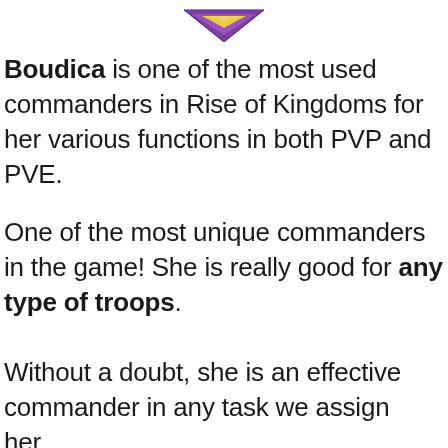[Figure (illustration): Partial view of a purple and yellow diamond-shaped game icon for the commander Boudica from Rise of Kingdoms]
Boudica is one of the most used commanders in Rise of Kingdoms for her various functions in both PVP and PVE.
One of the most unique commanders in the game! She is really good for any type of troops.
Without a doubt, she is an effective commander in any task we assign her.